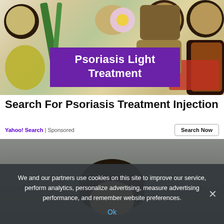[Figure (photo): Top-down photo of various herbs, spices, and natural ingredients in wooden bowls and spoons, with a purple banner overlay reading 'Psoriasis Light Treatment']
Search For Psoriasis Treatment Injection
Yahoo! Search | Sponsored
[Figure (photo): Photo of a person's head with dark hair against a grey background]
We and our partners use cookies on this site to improve our service, perform analytics, personalize advertising, measure advertising performance, and remember website preferences.
Ok